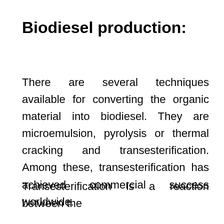Biodiesel production:
There are several techniques available for converting the organic material into biodiesel. They are microemulsion, pyrolysis or thermal cracking and transesterification. Among these, transesterification has achieved commercial success worldwide.
Transesterification is a reaction between the